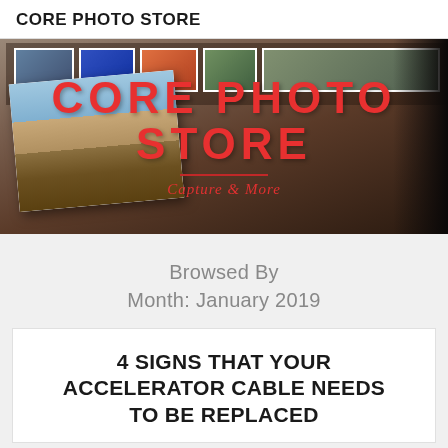CORE PHOTO STORE
[Figure (photo): Banner image for Core Photo Store website showing a hand holding printed photographs with 'CORE PHOTO STORE / Capture & More' text overlay in red on a dark background with wall photos visible]
Browsed By
Month: January 2019
4 SIGNS THAT YOUR ACCELERATOR CABLE NEEDS TO BE REPLACED